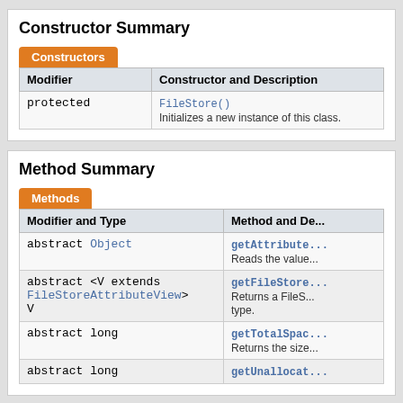Constructor Summary
| Modifier | Constructor and Description |
| --- | --- |
| protected | FileStore()
Initializes a new instance of this class. |
Method Summary
| Modifier and Type | Method and De... |
| --- | --- |
| abstract Object | getAttribute...
Reads the value... |
| abstract <V extends FileStoreAttributeView> V | getFileStore...
Returns a FileS... type. |
| abstract long | getTotalSpac...
Returns the size... |
| abstract long | getUnallocat... |